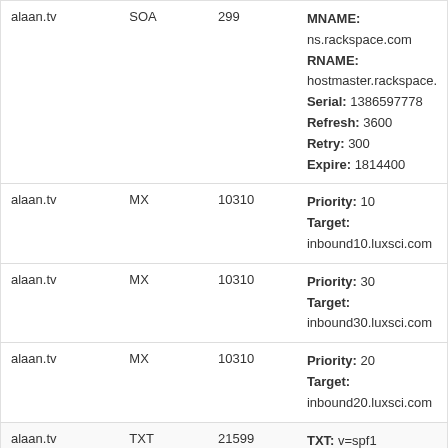| Domain | Type | TTL | Data |
| --- | --- | --- | --- |
| alaan.tv | SOA | 299 | MNAME: ns.rackspace.com
RNAME: hostmaster.rackspace.
Serial: 1386597778
Refresh: 3600
Retry: 300
Expire: 1814400 |
| alaan.tv | MX | 10310 | Priority: 10
Target: inbound10.luxsci.com |
| alaan.tv | MX | 10310 | Priority: 30
Target: inbound30.luxsci.com |
| alaan.tv | MX | 10310 | Priority: 20
Target: inbound20.luxsci.com |
| alaan.tv | TXT | 21599 | TXT: v=spf1 include:luxsci.com - |
Similarly Ranked Websites
Babbel.com
+B ★★★☆ - babbel.com